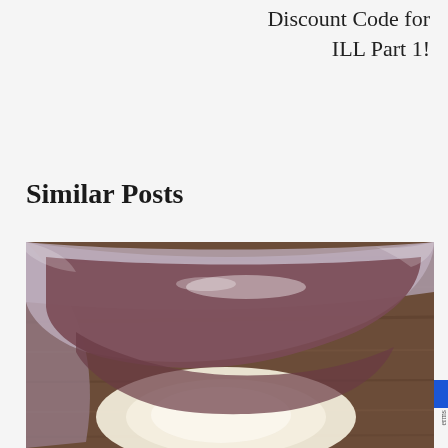Discount Code for ILL Part 1!
Similar Posts
[Figure (photo): Close-up photo of a plastic container/tub with a creamy white liquid inside, viewed from above at an angle. The container appears to be on a wooden surface. The inside of the container shows a dark reddish-brown residue around the edges with a pale cream or white liquid pooled at the bottom center.]